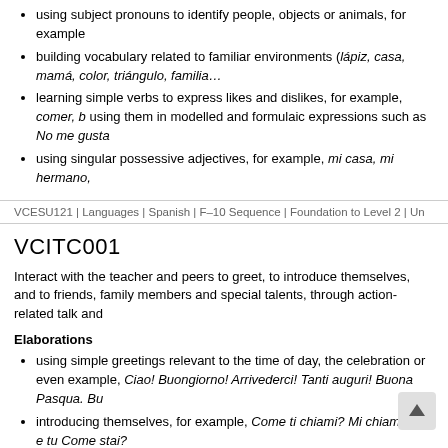using subject pronouns to identify people, objects or animals, for example
building vocabulary related to familiar environments (lápiz, casa, mamá, color, triángulo, familia…
learning simple verbs to express likes and dislikes, for example, comer, b using them in modelled and formulaic expressions such as No me gusta
using singular possessive adjectives, for example, mi casa, mi hermano,
VCESU121 | Languages | Spanish | F–10 Sequence | Foundation to Level 2 | Un
VCITC001
Interact with the teacher and peers to greet, to introduce themselves, and to friends, family members and special talents, through action-related talk and
Elaborations
using simple greetings relevant to the time of day, the celebration or even example, Ciao! Buongiorno! Arrivederci! Tanti auguri! Buona Pasqua. Bu
introducing themselves, for example, Come ti chiami? Mi chiamo …, e tu Come stai?
naming family members and friends, for example, mio fratello Carlo; il pa
understanding single words and simple phrases, and indicating comprehe an object, selecting a picture card or flashcard to demonstrate the phrase form, for example, personal objects: la cartella, la bambola, la pa scho banco; toys and games: il treno, la bicicletta
indicating possession (as set phrases), for example, la mia penna, il mio